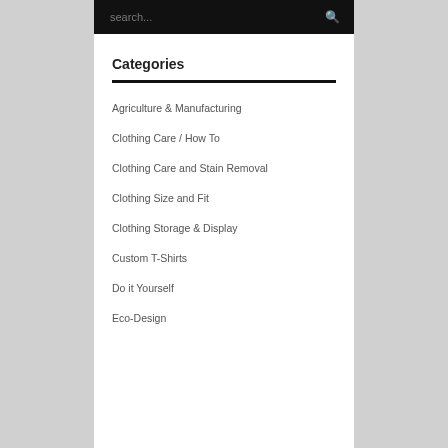[Figure (screenshot): Search bar with dark background, placeholder text 'search...' and a magnifying glass icon on the right]
Categories
Agriculture & Manufacturing
Clothing Care / How To
Clothing Care and Stain Removal
Clothing Size and Fit
Clothing Storage & Display
Custom T-Shirts
Do it Yourself
Eco-Design